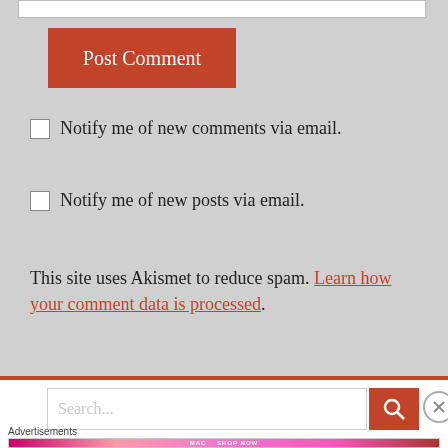[Figure (screenshot): Input text field at top of comment form]
[Figure (screenshot): Orange 'Post Comment' button]
Notify me of new comments via email.
Notify me of new posts via email.
This site uses Akismet to reduce spam. Learn how your comment data is processed.
[Figure (screenshot): Search bar with orange search button and close (X) button]
Advertisements
[Figure (photo): MAC cosmetics advertisement banner with lipsticks and SHOP NOW text]